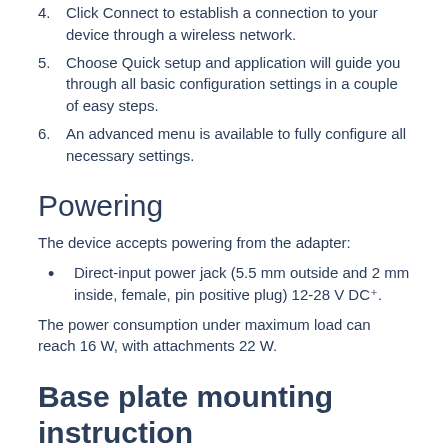4. Click Connect to establish a connection to your device through a wireless network.
5. Choose Quick setup and application will guide you through all basic configuration settings in a couple of easy steps.
6. An advanced menu is available to fully configure all necessary settings.
Powering
The device accepts powering from the adapter:
Direct-input power jack (5.5 mm outside and 2 mm inside, female, pin positive plug) 12-28 V DC⁺.
The power consumption under maximum load can reach 16 W, with attachments 22 W.
Base plate mounting instruction
1. Base plate comes with the package, in order to assemble please follow these instructions.
2. Place small tip of the base plate into the case on the